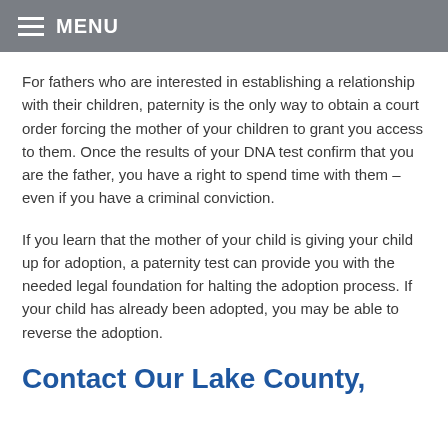MENU
For fathers who are interested in establishing a relationship with their children, paternity is the only way to obtain a court order forcing the mother of your children to grant you access to them. Once the results of your DNA test confirm that you are the father, you have a right to spend time with them – even if you have a criminal conviction.
If you learn that the mother of your child is giving your child up for adoption, a paternity test can provide you with the needed legal foundation for halting the adoption process. If your child has already been adopted, you may be able to reverse the adoption.
Contact Our Lake County,